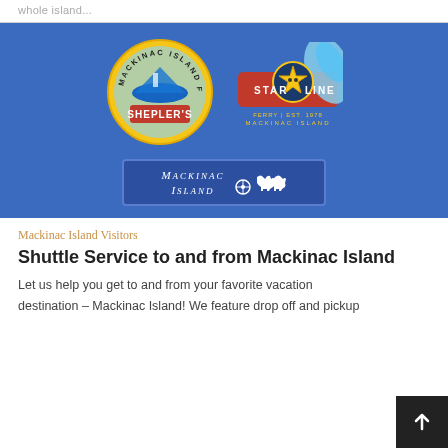whole island...
[Figure (logo): Blue banner image showing three logos: Shepler's Mackinac Island Ferry (circular logo with boat on yellow background), Star Line Mackinac Island Ferry (star character logo on red banner), and Mackinac Island logo (dark blue rectangle with horse-drawn carriage icons)]
Mackinac Island Visitors
Shuttle Service to and from Mackinac Island
Let us help you get to and from your favorite vacation destination – Mackinac Island! We feature drop off and pickup